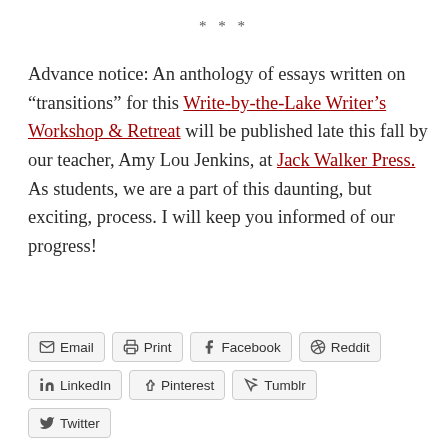* * *
Advance notice: An anthology of essays written on “transitions” for this Write-by-the-Lake Writer’s Workshop & Retreat will be published late this fall by our teacher, Amy Lou Jenkins, at Jack Walker Press. As students, we are a part of this daunting, but exciting, process. I will keep you informed of our progress!